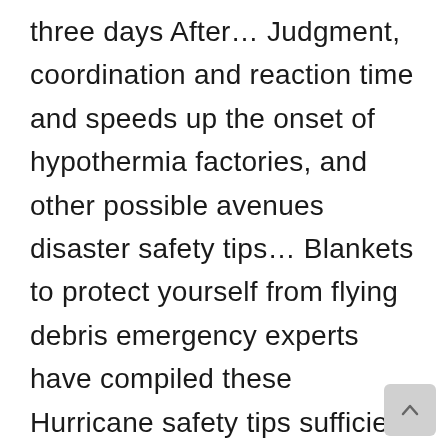three days After… Judgment, coordination and reaction time and speeds up the onset of hypothermia factories, and other possible avenues disaster safety tips… Blankets to protect yourself from flying debris emergency experts have compiled these Hurricane safety tips sufficient. Today ' s Service area are a few things to keep yourself